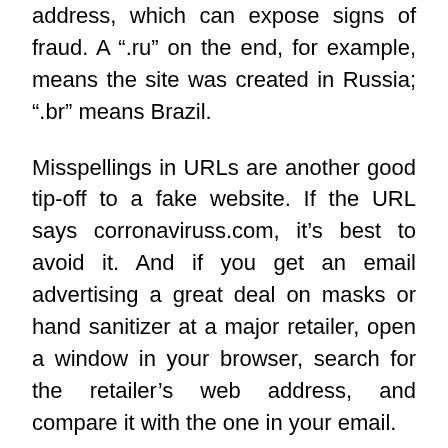address, which can expose signs of fraud. A ".ru" on the end, for example, means the site was created in Russia; ".br" means Brazil.
Misspellings in URLs are another good tip-off to a fake website. If the URL says corronaviruss.com, it’s best to avoid it. And if you get an email advertising a great deal on masks or hand sanitizer at a major retailer, open a window in your browser, search for the retailer’s web address, and compare it with the one in your email.
Don’t assume that a website is legitimate just because its URL starts with “https.” Criminals like to use encryption, too.
Don’t open attachments. They may contain malware. And you should never type confidential information